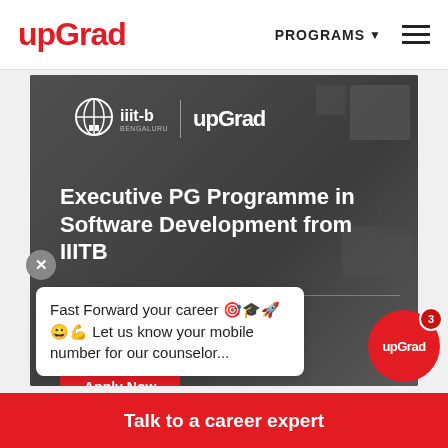upGrad | PROGRAMS
[Figure (screenshot): upGrad course card showing Executive PG Programme in Software Development from IIITB with Specialisation in Big Data, Online badge, and Apply Now button on dark grey background with IIITB and upGrad logos]
Fast Forward your career 🚀🎓 Let us know your mobile number for our counselor...
Talk to a career expert